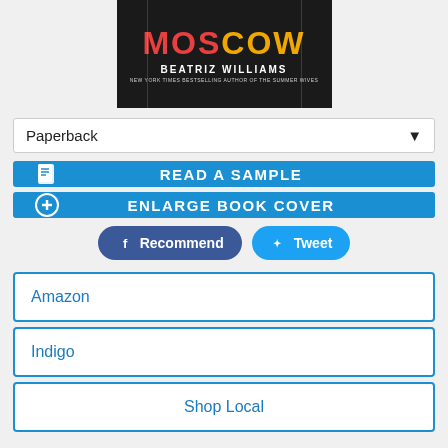[Figure (illustration): Book cover for 'Moscow' by Beatriz Williams — dark background with red/orange lettering for the title and white text for the author name. Subtitle: New York Times Bestselling Author of The Summer Wives.]
Paperback
READ A SAMPLE
ENLARGE BOOK COVER
Recommend
Tweet
Amazon
Indigo
Shop Local